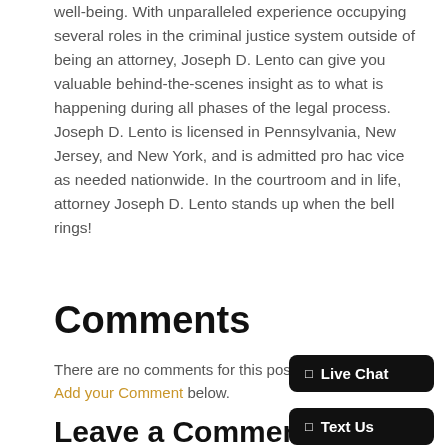well-being. With unparalleled experience occupying several roles in the criminal justice system outside of being an attorney, Joseph D. Lento can give you valuable behind-the-scenes insight as to what is happening during all phases of the legal process. Joseph D. Lento is licensed in Pennsylvania, New Jersey, and New York, and is admitted pro hac vice as needed nationwide. In the courtroom and in life, attorney Joseph D. Lento stands up when the bell rings!
Comments
There are no comments for this post. Be the first and Add your Comment below.
Leave a Comment